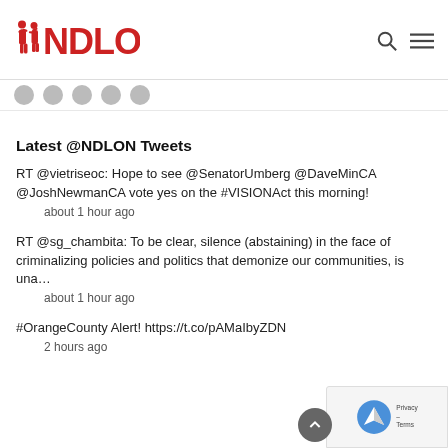NDLON
Latest @NDLON Tweets
RT @vietriseoc: Hope to see @SenatorUmberg @DaveMinCA @JoshNewmanCA vote yes on the #VISIONAct this morning!
        about 1 hour ago
RT @sg_chambita: To be clear, silence (abstaining) in the face of criminalizing policies and politics that demonize our communities, is una...
        about 1 hour ago
#OrangeCounty Alert! https://t.co/pAMaIbyZDN
     2 hours ago